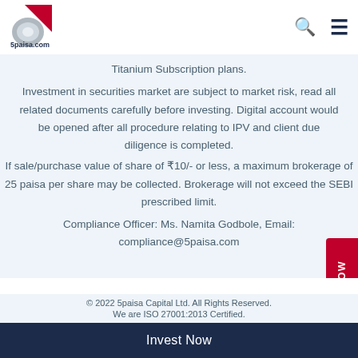[Figure (logo): 5paisa.com logo with red folded corner and silver disk]
Titanium Subscription plans.
Investment in securities market are subject to market risk, read all related documents carefully before investing. Digital account would be opened after all procedure relating to IPV and client due diligence is completed.
If sale/purchase value of share of ₹10/- or less, a maximum brokerage of 25 paisa per share may be collected. Brokerage will not exceed the SEBI prescribed limit.
Compliance Officer: Ms. Namita Godbole, Email: compliance@5paisa.com
© 2022 5paisa Capital Ltd. All Rights Reserved.
We are ISO 27001:2013 Certified.
Invest Now